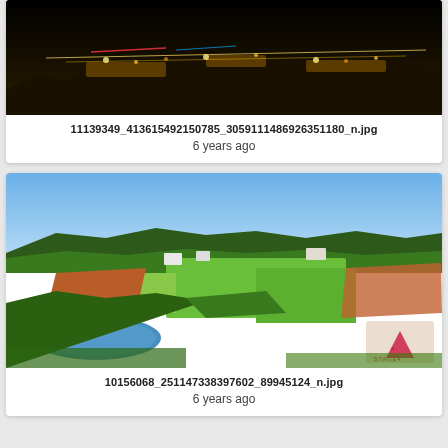[Figure (photo): Nighttime photograph of a building or town with colorful lights illuminating the scene against a dark background.]
11139349_413615492150785_3059111486926351180_n.jpg
6 years ago
[Figure (photo): Aerial/elevated daytime photograph of a green rural landscape with trees, fields, a pond, and scattered buildings under a blue sky.]
10156068_251147338397602_89945124_n.jpg
6 years ago